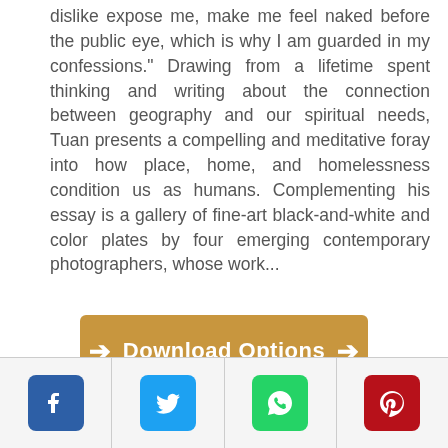dislike expose me, make me feel naked before the public eye, which is why I am guarded in my confessions." Drawing from a lifetime spent thinking and writing about the connection between geography and our spiritual needs, Tuan presents a compelling and meditative foray into how place, home, and homelessness condition us as humans. Complementing his essay is a gallery of fine-art black-and-white and color plates by four emerging contemporary photographers, whose work...
[Figure (other): Orange/tan Download Options button with left and right arrow icons on either side of the text]
[Figure (other): Social media sharing bar with four icons: Facebook (blue), Twitter (light blue), WhatsApp (green), Pinterest (red)]